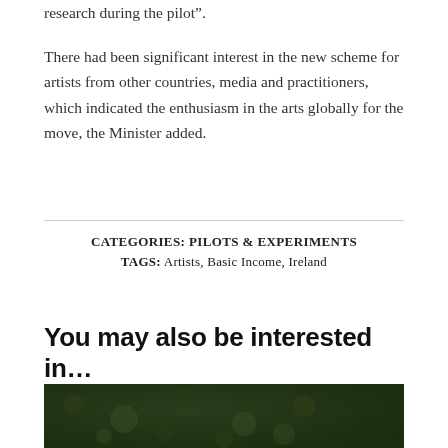research during the pilot".
There had been significant interest in the new scheme for artists from other countries, media and practitioners, which indicated the enthusiasm in the arts globally for the move, the Minister added.
CATEGORIES: PILOTS & EXPERIMENTS
TAGS: Artists, Basic Income, Ireland
You may also be interested in…
[Figure (photo): Dark green textured background image, appears to be grass or foliage, partially visible at bottom of page.]